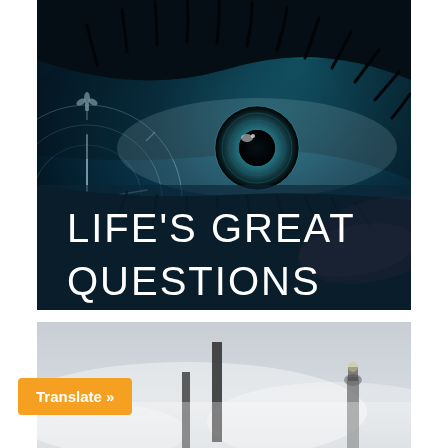[Figure (illustration): A composite image featuring a close-up of a human eye with blue iris set against a dark background, overlaid with cosmic/galaxy imagery, clock-like circular patterns on the left side, and sparkling light effects. White large text reads 'LIFE'S GREAT QUESTIONS' overlaid on the lower portion of the image.]
[Figure (photo): A misty/foggy outdoor scene with dark silhouetted vertical posts or pillars and what appears to be a lighthouse or structure in the background. The image has a grey, atmospheric quality.]
Translate »